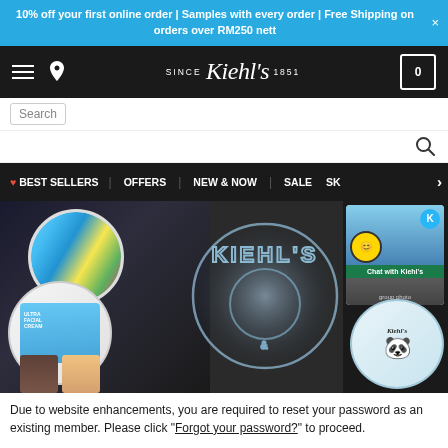10% off your first online order | Samples with every order | Free Shipping on orders over RM250 nett
[Figure (screenshot): Kiehl's website header with logo, hamburger menu, location icon, and cart]
[Figure (screenshot): Navigation bar with Best Sellers, Offers, New & Now, Sale, and partial SK menu]
[Figure (photo): Kiehl's hero banner showing product jars with colorful designs, illuminated Kiehl's logo badge, Chat with Kiehl's mascot, and group photo]
Due to website enhancements, you are required to reset your password as an existing member. Please click "Forgot your password?" to proceed.